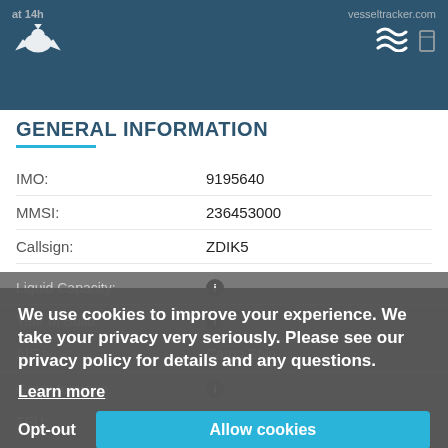vesseltracker.com — General vessel information page
GENERAL INFORMATION
| Field | Value |
| --- | --- |
| IMO: | 9195640 |
| MMSI: | 236453000 |
| Callsign: | ZDIK5 |
| Width: | 12.0 m |
| Length: | 89.0 m |
| Deadweight: |  |
| Gross tonnage: |  |
| TEU: |  |
| Liquid Capacity: |  |
| Year of Build: |  |
| Class: |  |
| AIS type: | Cargo Ship |
| Ship type: |  |
| Flag: | Gibraltar |
| Builder: |  |
| Owner: |  |
| Operator: |  |
We use cookies to improve your experience. We take your privacy very seriously. Please see our privacy policy for details and any questions.
Learn more
Opt-out    Allow cookies